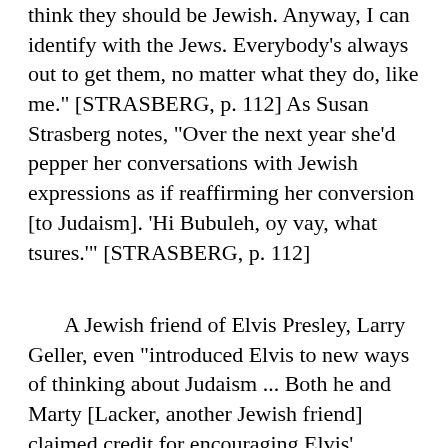think they should be Jewish. Anyway, I can identify with the Jews. Everybody's always out to get them, no matter what they do, like me." [STRASBERG, p. 112] As Susan Strasberg notes, "Over the next year she'd pepper her conversations with Jewish expressions as if reaffirming her conversion [to Judaism]. 'Hi Bubuleh, oy vay, what tsures.'" [STRASBERG, p. 112]
A Jewish friend of Elvis Presley, Larry Geller, even "introduced Elvis to new ways of thinking about Judaism ... Both he and Marty [Lacker, another Jewish friend] claimed credit for encouraging Elvis' decision that Christmas to have a new headstone placed ... [Elvis thought...